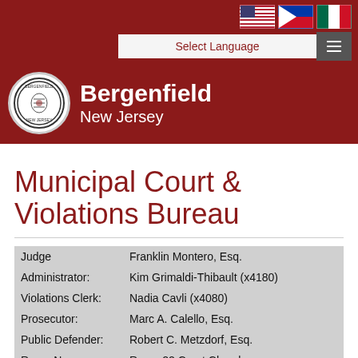[Figure (logo): Bergenfield New Jersey municipal website header with US, Philippine, and Mexican flags, Select Language dropdown, hamburger menu, municipal seal, and city name]
Municipal Court & Violations Bureau
| Judge | Franklin Montero, Esq. |
| Administrator: | Kim Grimaldi-Thibault (x4180) |
| Violations Clerk: | Nadia Cavli (x4080) |
| Prosecutor: | Marc A. Calello, Esq. |
| Public Defender: | Robert C. Metzdorf, Esq. |
| Room No. | Room 22 Court Chambers, |